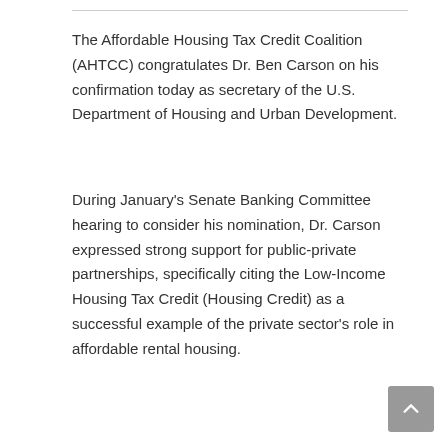The Affordable Housing Tax Credit Coalition (AHTCC) congratulates Dr. Ben Carson on his confirmation today as secretary of the U.S. Department of Housing and Urban Development.
During January's Senate Banking Committee hearing to consider his nomination, Dr. Carson expressed strong support for public-private partnerships, specifically citing the Low-Income Housing Tax Credit (Housing Credit) as a successful example of the private sector's role in affordable rental housing.